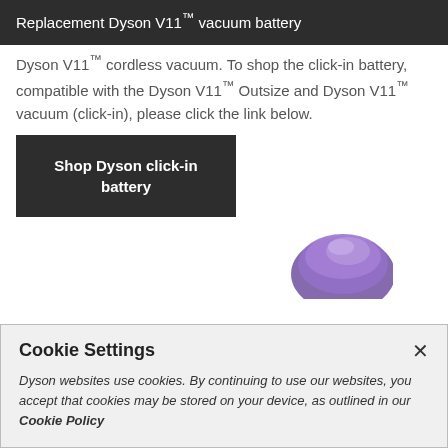Replacement Dyson V11™ vacuum battery
Dyson V11™ cordless vacuum. To shop the click-in battery, compatible with the Dyson V11™ Outsize and Dyson V11™ vacuum (click-in), please click the link below.
Shop Dyson click-in battery
[Figure (photo): Partial view of a purple Dyson V11 vacuum battery component]
Cookie Settings
Dyson websites use cookies. By continuing to use our websites, you accept that cookies may be stored on your device, as outlined in our Cookie Policy